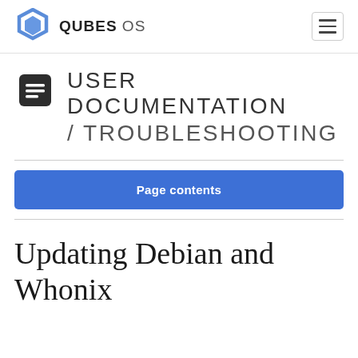QUBES OS
USER DOCUMENTATION / TROUBLESHOOTING
Page contents
Updating Debian and Whonix